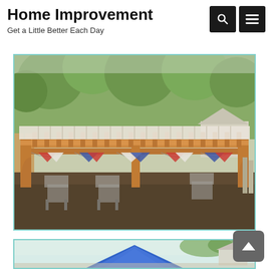Home Improvement
Get a Little Better Each Day
[Figure (photo): Outdoor wooden pergola with decorative patriotic bunting, folding chairs underneath, surrounded by trees and a backyard setting]
[Figure (photo): Partial view of a blue canopy or gazebo in a backyard with trees in the background]